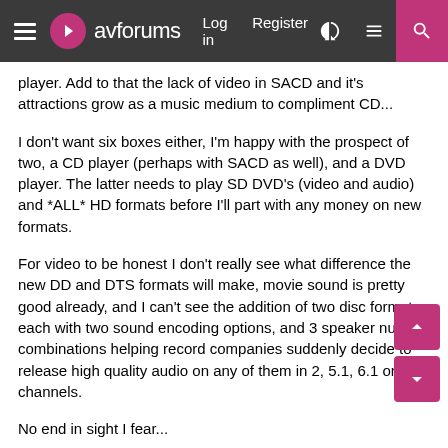avforums — Log in | Register
player. Add to that the lack of video in SACD and it's attractions grow as a music medium to compliment CD...
I don't want six boxes either, I'm happy with the prospect of two, a CD player (perhaps with SACD as well), and a DVD player. The latter needs to play SD DVD's (video and audio) and *ALL* HD formats before I'll part with any money on new formats.
For video to be honest I don't really see what difference the new DD and DTS formats will make, movie sound is pretty good already, and I can't see the addition of two disc formats each with two sound encoding options, and 3 speaker number combinations helping record companies suddenly decide to release high quality audio on any of them in 2, 5.1, 6.1 or 7.2 channels.
No end in sight I fear...
Ian.